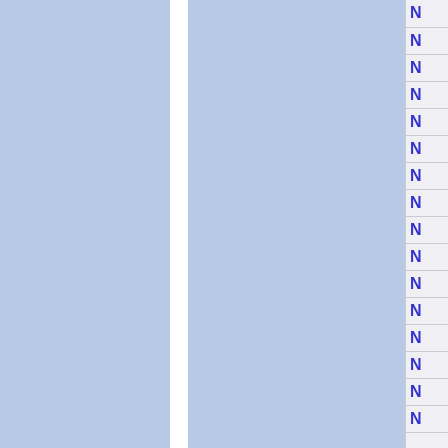[Figure (other): Page showing two blue panels separated by a white vertical divider, with a right-side column of rows each containing the letter N in blue]
| N |
| --- |
| N |
| N |
| N |
| N |
| N |
| N |
| N |
| N |
| N |
| N |
| N |
| N |
| N |
| N |
| N |
| N |